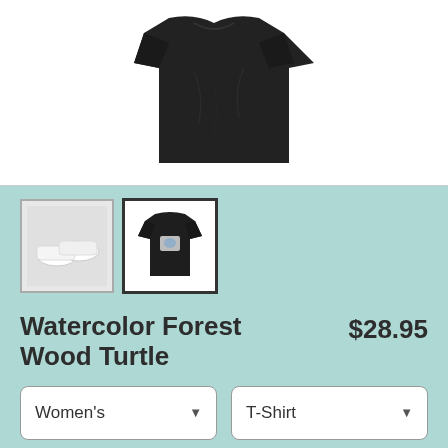[Figure (photo): Dark charcoal/black crumpled t-shirt product photo on white background]
[Figure (photo): Thumbnail: white shoes on white background]
[Figure (photo): Thumbnail (selected): dark t-shirt with graphic on white background]
Watercolor Forest Wood Turtle
$28.95
Women's
T-Shirt
SELECT YOUR FIT
$22.45
Fitted
$22.45
Regular Unisex